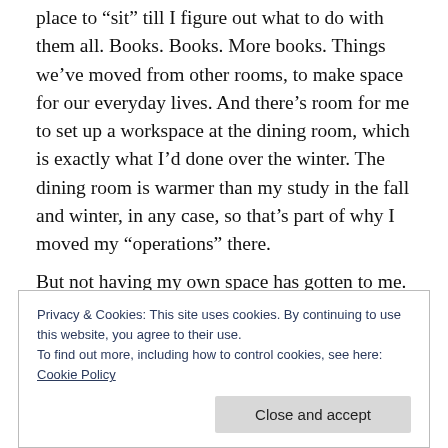place to “sit” till I figure out what to do with them all. Books. Books. More books. Things we’ve moved from other rooms, to make space for our everyday lives. And there’s room for me to set up a workspace at the dining room, which is exactly what I’d done over the winter. The dining room is warmer than my study in the fall and winter, in any case, so that’s part of why I moved my “operations” there.
But not having my own space has gotten to me.
Privacy & Cookies: This site uses cookies. By continuing to use this website, you agree to their use.
To find out more, including how to control cookies, see here:
Cookie Policy
Close and accept